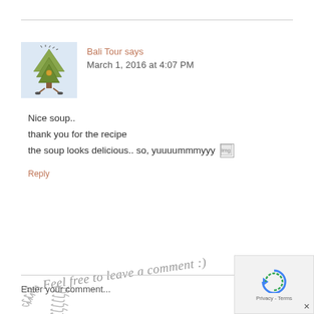Bali Tour says
March 1, 2016 at 4:07 PM

Nice soup..
thank you for the recipe
the soup looks delicious.. so, yuuuummmyyy
Reply
[Figure (illustration): Cursive handwritten signature reading 'follow jennifer' in gray ink, rotated diagonally]
Feel free to leave a comment :)
[Figure (other): reCAPTCHA widget with blue recycling-style arrow icon and Privacy - Terms text]